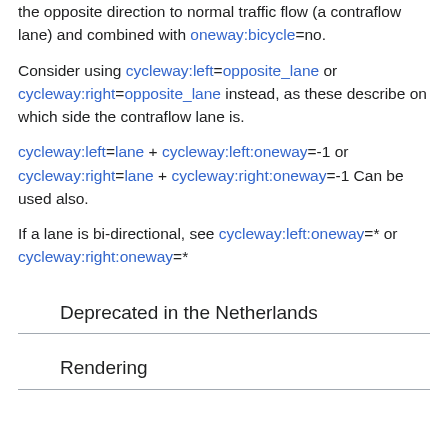the opposite direction to normal traffic flow (a contraflow lane) and combined with oneway:bicycle=no.
Consider using cycleway:left=opposite_lane or cycleway:right=opposite_lane instead, as these describe on which side the contraflow lane is.
cycleway:left=lane + cycleway:left:oneway=-1 or cycleway:right=lane + cycleway:right:oneway=-1 Can be used also.
If a lane is bi-directional, see cycleway:left:oneway=* or cycleway:right:oneway=*
Deprecated in the Netherlands
Rendering